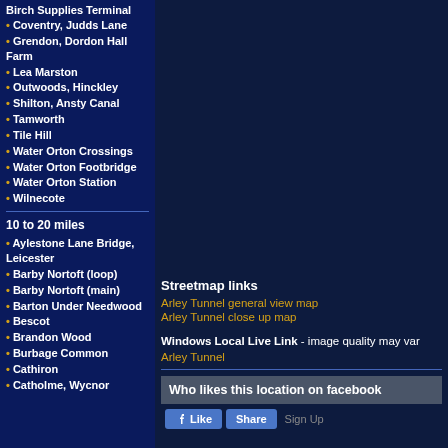Birch Supplies Terminal
Coventry, Judds Lane
Grendon, Dordon Hall Farm
Lea Marston
Outwoods, Hinckley
Shilton, Ansty Canal
Tamworth
Tile Hill
Water Orton Crossings
Water Orton Footbridge
Water Orton Station
Wilnecote
10 to 20 miles
Aylestone Lane Bridge, Leicester
Barby Nortoft (loop)
Barby Nortoft (main)
Barton Under Needwood
Bescot
Brandon Wood
Burbage Common
Cathiron
Catholme, Wycnor
Streetmap links
Arley Tunnel general view map
Arley Tunnel close up map
Windows Local Live Link - image quality may vary
Arley Tunnel
Who likes this location on facebook